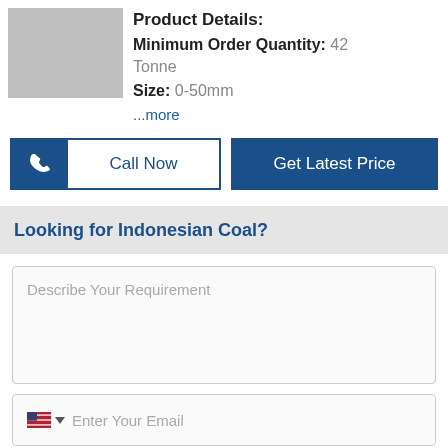[Figure (photo): Gray placeholder product image box]
Product Details:
Minimum Order Quantity: 42 Tonne
Size: 0-50mm
...more
Call Now
Get Latest Price
Looking for Indonesian Coal?
Describe Your Requirement
Enter Your Email